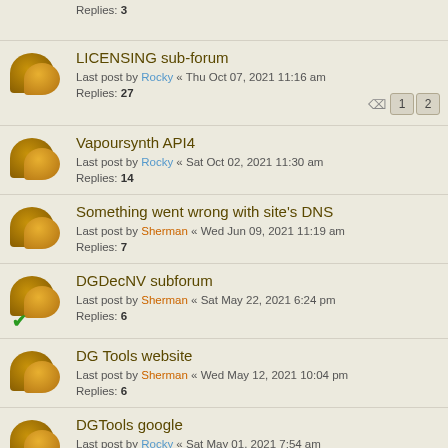Replies: 3
LICENSING sub-forum
Last post by Rocky « Thu Oct 07, 2021 11:16 am
Replies: 27
Vapoursynth API4
Last post by Rocky « Sat Oct 02, 2021 11:30 am
Replies: 14
Something went wrong with site's DNS
Last post by Sherman « Wed Jun 09, 2021 11:19 am
Replies: 7
DGDecNV subforum
Last post by Sherman « Sat May 22, 2021 6:24 pm
Replies: 6
DG Tools website
Last post by Sherman « Wed May 12, 2021 10:04 pm
Replies: 6
DGTools google
Last post by Rocky « Sat May 01, 2021 7:54 am
Replies: 1
Thank button!
Last post by Britney « Sun Feb 07, 2021 1:25 pm